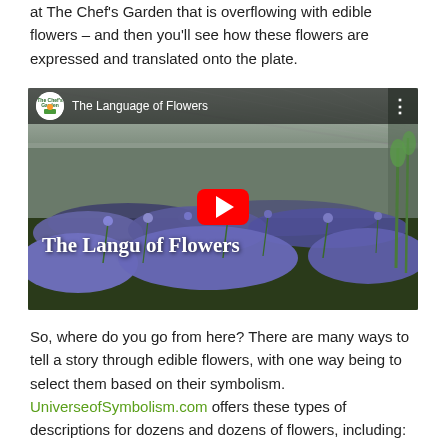at The Chef's Garden that is overflowing with edible flowers – and then you'll see how these flowers are expressed and translated onto the plate.
[Figure (screenshot): YouTube video thumbnail for 'The Language of Flowers' showing a greenhouse interior filled with blue/purple flowers. Features the YouTube play button in the center, The Chef's Garden channel logo and video title in the top bar.]
So, where do you go from here? There are many ways to tell a story through edible flowers, with one way being to select them based on their symbolism. UniverseofSymbolism.com offers these types of descriptions for dozens and dozens of flowers, including: